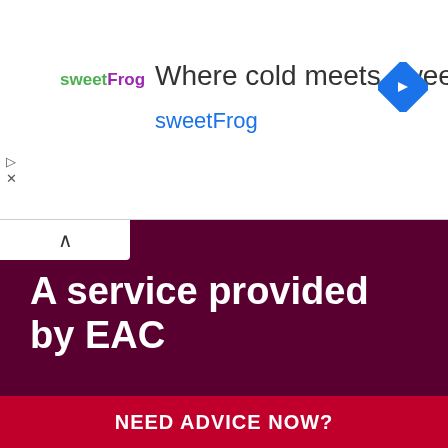[Figure (screenshot): SweetFrog advertisement banner with logo, tagline 'Where cold meets sweet', brand name 'sweetFrog', and a blue diamond navigation arrow icon]
A service provided by EAC
Copyright © 2020 Elderly Accommodation Counsel, 3rd Floor, 89 Albert Embankment, London, SE1 7TP. Registered charity number 292552. Company number 1955490.
Terms & conditions
Accessibility
NEED ADVICE NOW?